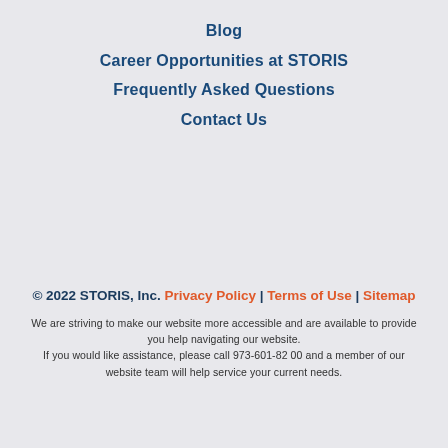Blog
Career Opportunities at STORIS
Frequently Asked Questions
Contact Us
© 2022 STORIS, Inc. Privacy Policy | Terms of Use | Sitemap
We are striving to make our website more accessible and are available to provide you help navigating our website. If you would like assistance, please call 973-601-8200 and a member of our website team will help service your current needs.